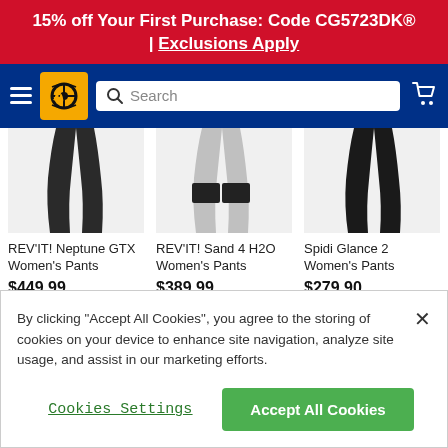15% off Your First Purchase: Code CG5723DK® | Exclusions Apply
[Figure (screenshot): Dark blue navigation bar with hamburger menu icon, yellow logo box with motorcycle wheel icon, search bar, and shopping cart icon]
[Figure (photo): REV'IT! Neptune GTX Women's Pants product image]
REV'IT! Neptune GTX Women's Pants
$449.99
[Figure (photo): REV'IT! Sand 4 H2O Women's Pants product image]
REV'IT! Sand 4 H2O Women's Pants
$389.99
[Figure (photo): Spidi Glance 2 Women's Pants product image]
Spidi Glance 2 Women's Pants
$279.90
By clicking "Accept All Cookies", you agree to the storing of cookies on your device to enhance site navigation, analyze site usage, and assist in our marketing efforts.
Cookies Settings
Accept All Cookies